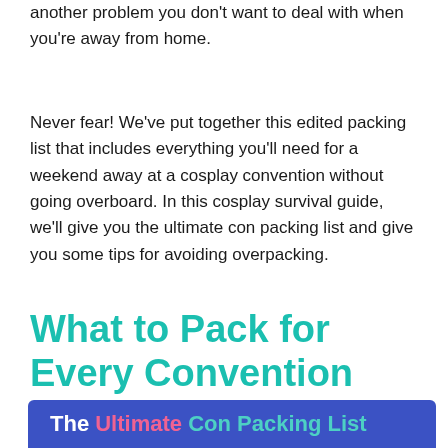another problem you don't want to deal with when you're away from home.
Never fear! We've put together this edited packing list that includes everything you'll need for a weekend away at a cosplay convention without going overboard. In this cosplay survival guide, we'll give you the ultimate con packing list and give you some tips for avoiding overpacking.
What to Pack for Every Convention
The Ultimate Con Packing List